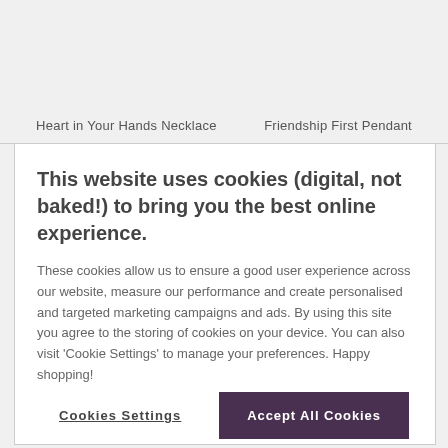Heart in Your Hands Necklace    Friendship First Pendant
This website uses cookies (digital, not baked!) to bring you the best online experience.
These cookies allow us to ensure a good user experience across our website, measure our performance and create personalised and targeted marketing campaigns and ads. By using this site you agree to the storing of cookies on your device. You can also visit 'Cookie Settings' to manage your preferences. Happy shopping!
Cookies Settings
Accept All Cookies